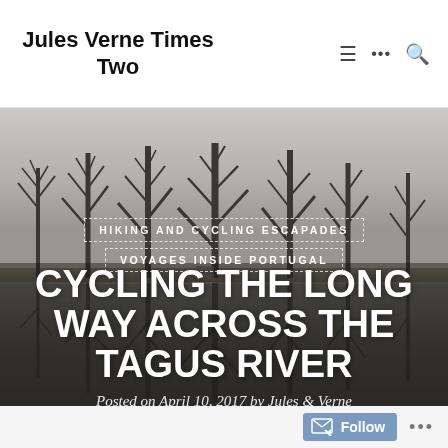Jules Verne Times Two
[Figure (photo): Landscape photo of bare winter trees reflected in still water of the Tagus River, overcast grey sky, moody tones]
HIKING AND CYCLING ESCAPADES
VOYAGES INSIDE PORTUGAL
CYCLING THE LONG WAY ACROSS THE TAGUS RIVER
Posted on April 10, 2017 by Jules & Verne
Reading time: 7 minutes